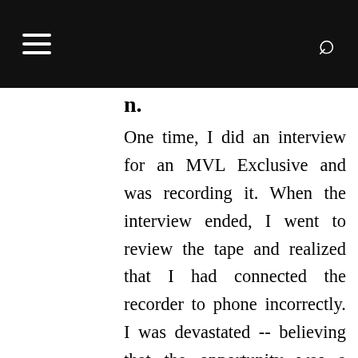n.
One time, I did an interview for an MVL Exclusive and was recording it. When the interview ended, I went to review the tape and realized that I had connected the recorder to phone incorrectly. I was devastated -- believing that the opportunity was a wash -- and almost walked away because I was afraid to go back to the subject and explain what happened. My thought: MVL is a fledgling blog and that it would be a bother. But, my friend Myleik encouraged me to send a note explaining what happened. I did that and the individual was more than accommodating. Not only did she agree to re-answer my questions, she sent her responses via video message. The lesson for